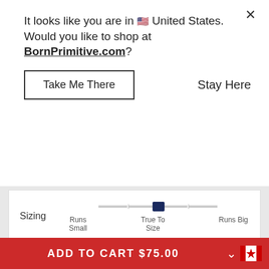It looks like you are in 🇺🇸 United States. Would you like to shop at BornPrimitive.com?
Take Me There
Stay Here
[Figure (infographic): Sizing slider showing position at 'True To Size', with labels: Runs Small, True To Size, Runs Big]
Was this helpful? 👍 0 👎 0
[Figure (logo): Born Primitive shield logo in dark outline]
Tess A. 🇺🇸
✔ Verified Buyer
ADD TO CART $75.00